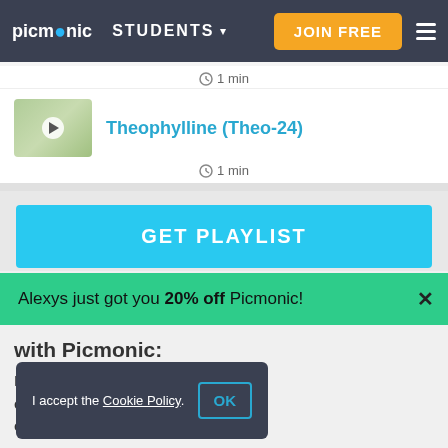picmonic STUDENTS ▾ JOIN FREE ≡
⊙ 1 min
Theophylline (Theo-24)
⊙ 1 min
GET PLAYLIST
Alexys just got you 20% off Picmonic!
with Picmonic:
Picmonic's picture edge, retention, and exam performance.
I accept the Cookie Policy. OK